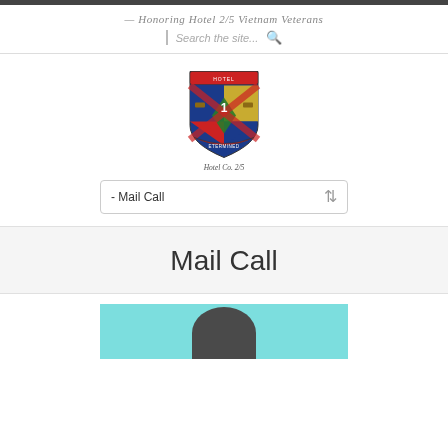— Honoring Hotel 2/5 Vietnam Veterans
Search the site...
[Figure (logo): Military unit crest/shield logo for Hotel Co. 2/5 with blue, yellow, and red design with banner]
- Mail Call (dropdown navigation)
Mail Call
[Figure (photo): Partial photo at bottom, appears to show a person outdoors with a teal/cyan background]